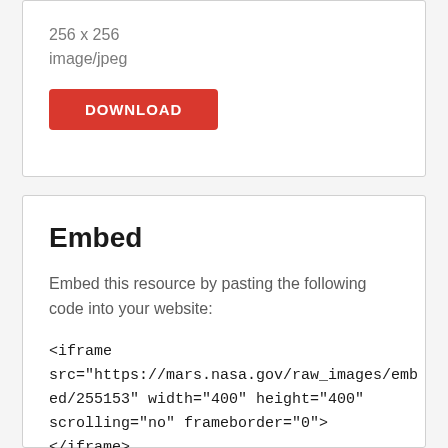256 x 256
image/jpeg
DOWNLOAD
Embed
Embed this resource by pasting the following code into your website:
<iframe src="https://mars.nasa.gov/raw_images/embed/255153" width="400" height="400" scrolling="no" frameborder="0"></iframe>